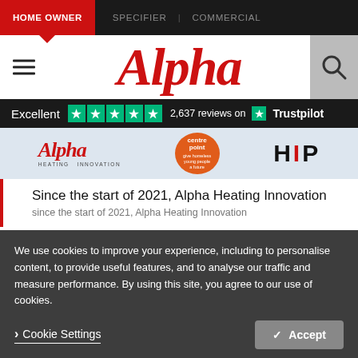HOME OWNER | SPECIFIER | COMMERCIAL
Alpha
Excellent ★★★★★ 2,637 reviews on Trustpilot
[Figure (logo): Alpha Heating Innovation logo, centre:point logo, HIP logo]
Since the start of 2021, Alpha Heating Innovation
We use cookies to improve your experience, including to personalise content, to provide useful features, and to analyse our traffic and measure performance. By using this site, you agree to our use of cookies.
Cookie Settings | Accept